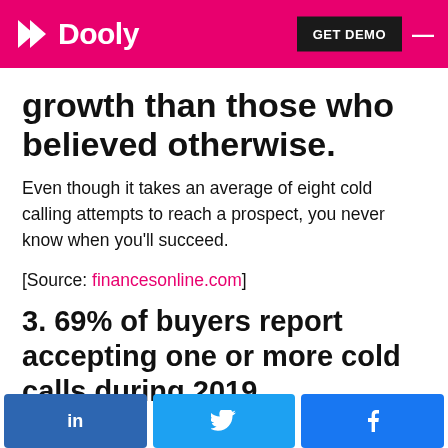Dooly | GET DEMO
growth than those who believed otherwise.
Even though it takes an average of eight cold calling attempts to reach a prospect, you never know when you'll succeed.
[Source: financesonline.com]
3. 69% of buyers report accepting one or more cold calls during 2019.
in | twitter bird | facebook f